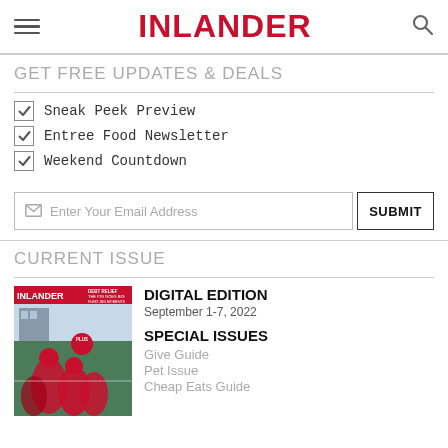INLANDER
GET FREE UPDATES & DEALS
Sneak Peek Preview
Entree Food Newsletter
Weekend Countdown
Enter Your Email Address  SUBMIT
CURRENT ISSUE
[Figure (photo): Cover of the Inlander magazine showing football players in red uniforms running on a field, with text 'DEBT RELIEF THE PIG GOES BIG FLEET-ING MOMENTS']
DIGITAL EDITION
September 1-7, 2022
SPECIAL ISSUES
Give Guide
Pet Issue
Cheap Eats Guide